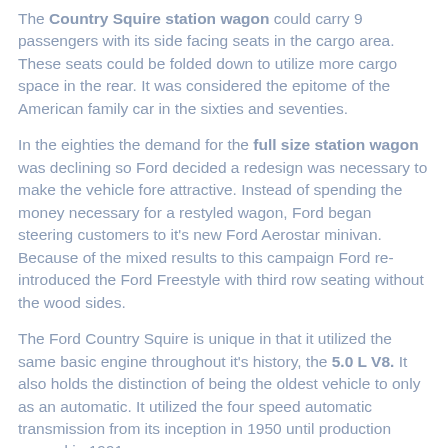The Country Squire station wagon could carry 9 passengers with its side facing seats in the cargo area. These seats could be folded down to utilize more cargo space in the rear. It was considered the epitome of the American family car in the sixties and seventies.
In the eighties the demand for the full size station wagon was declining so Ford decided a redesign was necessary to make the vehicle fore attractive. Instead of spending the money necessary for a restyled wagon, Ford began steering customers to it's new Ford Aerostar minivan. Because of the mixed results to this campaign Ford re-introduced the Ford Freestyle with third row seating without the wood sides.
The Ford Country Squire is unique in that it utilized the same basic engine throughout it's history, the 5.0 L V8. It also holds the distinction of being the oldest vehicle to only as an automatic. It utilized the four speed automatic transmission from its inception in 1950 until production ceased in 1991.